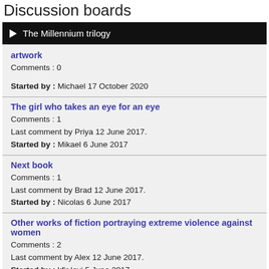Discussion boards
The Millennium trilogy
artwork
Comments : 0
Started by : Michael 17 October 2020
The girl who takes an eye for an eye
Comments : 1
Last comment by Priya 12 June 2017.
Started by : Mikael 6 June 2017
Next book
Comments : 1
Last comment by Brad 12 June 2017.
Started by : Nicolas 6 June 2017
Other works of fiction portraying extreme violence against women
Comments : 2
Last comment by Alex 12 June 2017.
Started by : kfir levi 5 June 2017